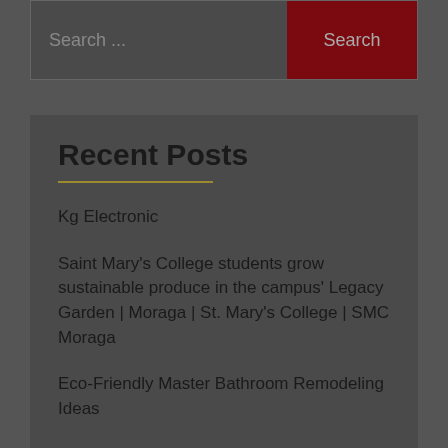Search ...
Search
Recent Posts
Kg Electronic
Saint Mary's College students grow sustainable produce in the campus' Legacy Garden | Moraga | St. Mary's College | SMC Moraga
Eco-Friendly Master Bathroom Remodeling Ideas
Here's how to save money while remodeling your home